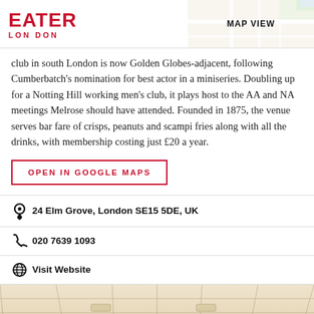EATER LONDON | MAP VIEW
club in south London is now Golden Globes-adjacent, following Cumberbatch's nomination for best actor in a miniseries. Doubling up for a Notting Hill working men's club, it plays host to the AA and NA meetings Melrose should have attended. Founded in 1875, the venue serves bar fare of crisps, peanuts and scampi fries along with all the drinks, with membership costing just £20 a year.
OPEN IN GOOGLE MAPS
24 Elm Grove, London SE15 5DE, UK
020 7639 1093
Visit Website
[Figure (photo): Interior photo showing a drop ceiling with recessed lighting panels in a beige/cream color]